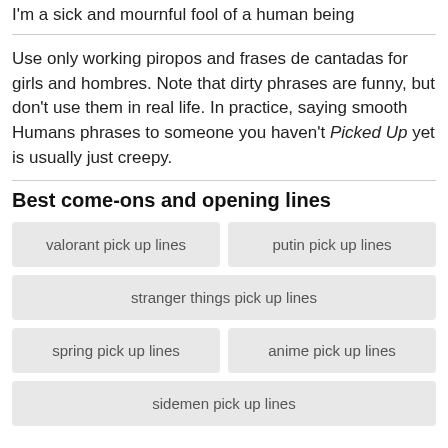I'm a sick and mournful fool of a human being
Use only working piropos and frases de cantadas for girls and hombres. Note that dirty phrases are funny, but don't use them in real life. In practice, saying smooth Humans phrases to someone you haven't Picked Up yet is usually just creepy.
Best come-ons and opening lines
valorant pick up lines
putin pick up lines
stranger things pick up lines
spring pick up lines
anime pick up lines
sidemen pick up lines